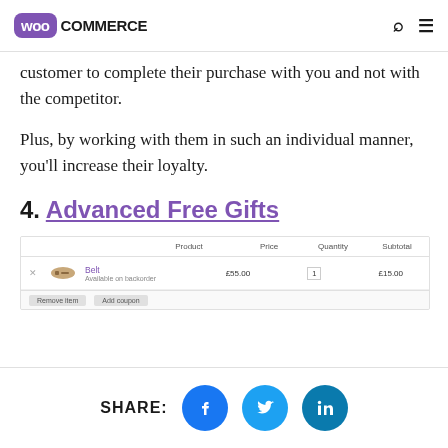WooCommerce
customer to complete their purchase with you and not with the competitor.
Plus, by working with them in such an individual manner, you'll increase their loyalty.
4. Advanced Free Gifts
[Figure (screenshot): WooCommerce cart screenshot showing a product table with columns: Product, Price, Quantity, Subtotal. A row shows a product (Belt, Available on backorder) priced at £55.00, quantity 1, subtotal £15.00. Partial footer row visible at bottom.]
SHARE: [Facebook] [Twitter] [LinkedIn]